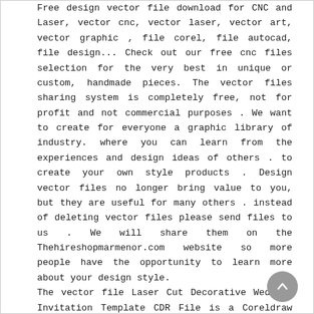Free design vector file download for CNC and Laser, vector cnc, vector laser, vector art, vector graphic , file corel, file autocad, file design... Check out our free cnc files selection for the very best in unique or custom, handmade pieces. The vector files sharing system is completely free, not for profit and not commercial purposes . We want to create for everyone a graphic library of industry. where you can learn from the experiences and design ideas of others . to create your own style products . Design vector files no longer bring value to you, but they are useful for many others . instead of deleting vector files please send files to us . We will share them on the Thehireshopmarmenor.com website so more people have the opportunity to learn more about your design style.
The vector file Laser Cut Decorative Wedding Invitation Template CDR File is a Coreldraw cdr ( .cdr ) file type, size is 677.19 KB, under wedding vectors.